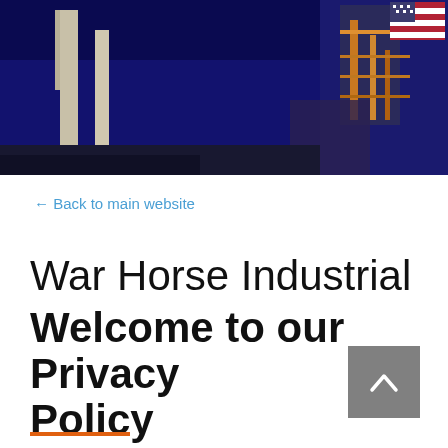[Figure (photo): Industrial facility at night/dusk — tall chimneys/towers against a deep blue sky, with orange-lit industrial structures and an American flag visible in the upper right]
← Back to main website
War Horse Industrial
Welcome to our Privacy Policy